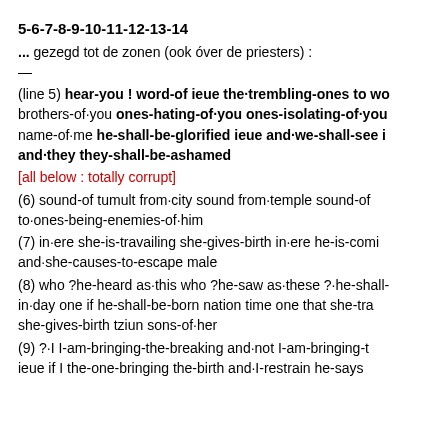5-6-7-8-9-10-11-12-13-14
... gezegd tot de zonen (ook óver de priesters) :
—
(line 5) hear-you ! word-of ieue the·trembling-ones to w... brothers-of·you ones-hating-of·you ones-isolating-of·you... name-of·me he-shall-be-glorified ieue and·we-shall-see i... and·they they-shall-be-ashamed
[all below : totally corrupt]
(6) sound-of tumult from·city sound from·temple sound-of... to·ones-being-enemies-of·him
(7) in·ere she-is-travailing she-gives-birth in·ere he-is-comi... and·she-causes-to-escape male
(8) who ?he-heard as·this who ?he-saw as·these ?·he-shall-... in·day one if he-shall-be-born nation time one that she-tra... she-gives-birth tziun sons-of·her
(9) ?·I I-am-bringing-the-breaking and·not I-am-bringing-t... ieue if I the-one-bringing the-birth and·I-restrain he-says...